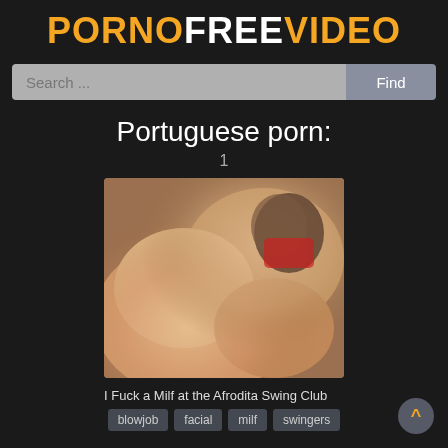PORNOFREEVIDEO
Search ...
Portuguese porn:
1
[Figure (photo): Video thumbnail showing adult content]
I Fuck a Milf at the Afrodita Swing Club
blowjob
facial
milf
swingers